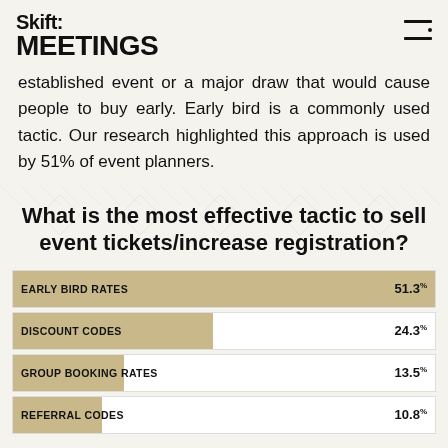Skift MEETINGS
established event or a major draw that would cause people to buy early. Early bird is a commonly used tactic. Our research highlighted this approach is used by 51% of event planners.
[Figure (bar-chart): What is the most effective tactic to sell event tickets/increase registration?]